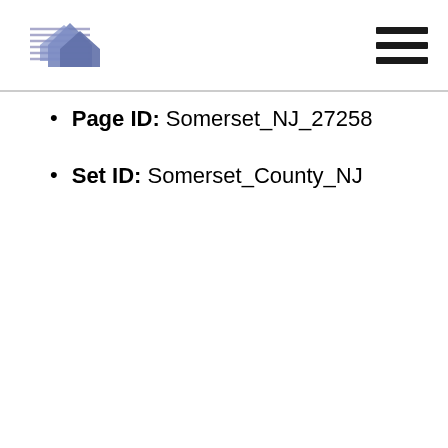[Figure (logo): Real estate or property assessment logo with stylized house/building shape in blue/gray tones with horizontal lines]
Page ID: Somerset_NJ_27258
Set ID: Somerset_County_NJ